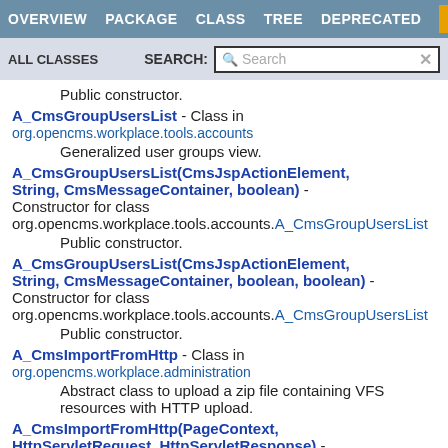OVERVIEW  PACKAGE  CLASS  TREE  DEPRECATED  INDEX
ALL CLASSES   SEARCH:  Search
Public constructor.
A_CmsGroupUsersList - Class in org.opencms.workplace.tools.accounts
  Generalized user groups view.
A_CmsGroupUsersList(CmsJspActionElement, String, CmsMessageContainer, boolean) - Constructor for class org.opencms.workplace.tools.accounts.A_CmsGroupUsersList
  Public constructor.
A_CmsGroupUsersList(CmsJspActionElement, String, CmsMessageContainer, boolean, boolean) - Constructor for class org.opencms.workplace.tools.accounts.A_CmsGroupUsersList
  Public constructor.
A_CmsImportFromHttp - Class in org.opencms.workplace.administration
  Abstract class to upload a zip file containing VFS resources with HTTP upload.
A_CmsImportFromHttp(PageContext, HttpServletRequest, HttpServletResponse) - Constructor for class org.opencms.workplace.administration.A_CmsImportFromHttp